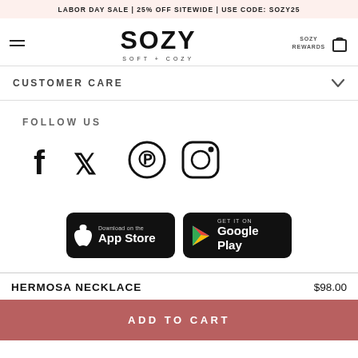LABOR DAY SALE | 25% OFF SITEWIDE | USE CODE: SOZY25
[Figure (logo): SOZY SOFT + COZY brand logo with hamburger menu, rewards link, and cart icon in header]
CUSTOMER CARE
FOLLOW US
[Figure (illustration): Social media icons: Facebook, Twitter, Pinterest, Instagram]
[Figure (illustration): App store badges: Download on the App Store and GET IT ON Google Play]
HERMOSA NECKLACE   $98.00
ADD TO CART